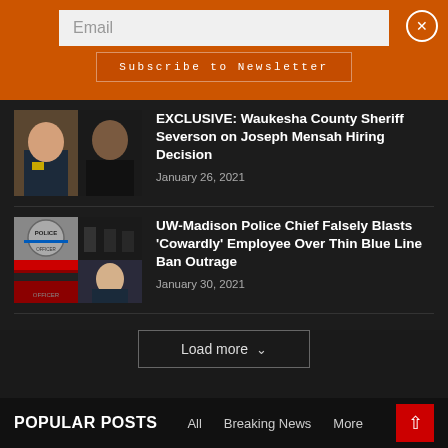Email
Subscribe to Newsletter
[Figure (photo): Composite of two people: a police officer in uniform on the left and a Black man in dark clothing on the right]
EXCLUSIVE: Waukesha County Sheriff Severson on Joseph Mensah Hiring Decision
January 26, 2021
[Figure (photo): Composite of police badge with thin blue line, police officers in background, and a woman officer]
UW-Madison Police Chief Falsely Blasts 'Cowardly' Employee Over Thin Blue Line Ban Outrage
January 30, 2021
Load more
POPULAR POSTS
All
Breaking News
More